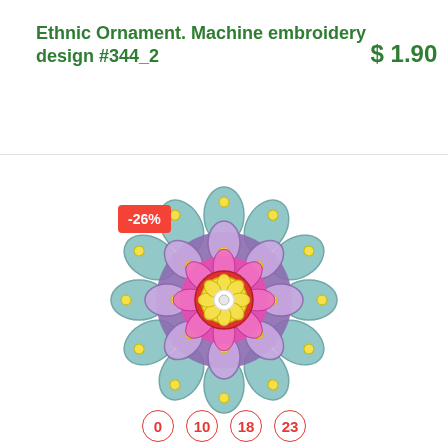Ethnic Ornament. Machine embroidery design #344_2
$ 1.90
[Figure (illustration): Colorful ethnic mandala flower machine embroidery design with layered petals in teal, purple, pink, red, and yellow on white background. A red badge shows -26% discount.]
0  10  18  23